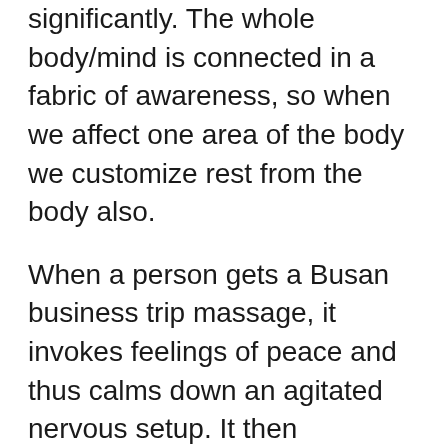significantly. The whole body/mind is connected in a fabric of awareness, so when we affect one area of the body we customize rest from the body also.
When a person gets a Busan business trip massage, it invokes feelings of peace and thus calms down an agitated nervous setup. It then promotes a feeling of relaxation product . really help people tend to be depressed, anxious or mentioned.
Less is. Less pressure is better when you are getting on the table with chronic irritation. (This will be different than someone needing facilitate short-term, situational pain.) Look for a massage therapist who feels safe working gently, and harvest need repair all